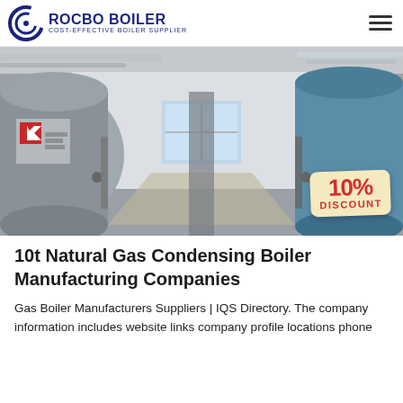ROCBO BOILER — COST-EFFECTIVE BOILER SUPPLIER
[Figure (photo): Industrial boiler room with two large horizontal gas condensing boilers on each side, pipes and fittings visible, white walls with windows in background. A '10% DISCOUNT' badge overlaid in bottom-right corner.]
10t Natural Gas Condensing Boiler Manufacturing Companies
Gas Boiler Manufacturers Suppliers | IQS Directory. The company information includes website links company profile locations phone